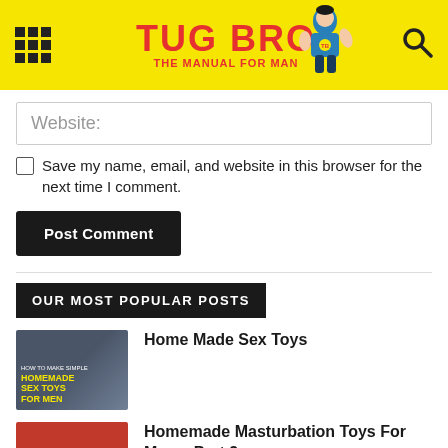TUG BRO - THE MANUAL FOR MAN
Website:
Save my name, email, and website in this browser for the next time I comment.
Post Comment
OUR MOST POPULAR POSTS
[Figure (photo): Thumbnail image for Homemade Sex Toys for Men article - dark background with yellow text]
Home Made Sex Toys
[Figure (photo): Thumbnail image for Homemade Masturbation Toys for Men Part 2 - red background with yellow text]
Homemade Masturbation Toys For Men – Part 2